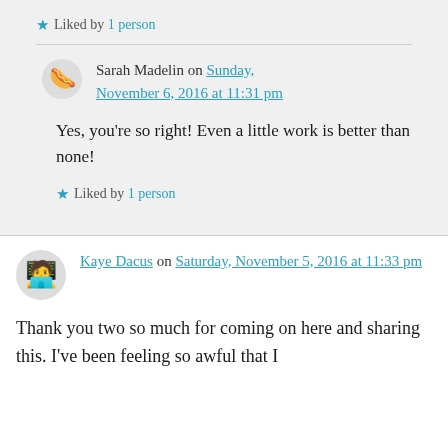★ Liked by 1 person
Sarah Madelin on Sunday, November 6, 2016 at 11:31 pm
Yes, you're so right! Even a little work is better than none!
★ Liked by 1 person
Kaye Dacus on Saturday, November 5, 2016 at 11:33 pm
Thank you two so much for coming on here and sharing this. I've been feeling so awful that I